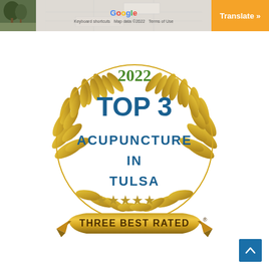[Figure (screenshot): Google Maps screenshot with thumbnail of a tree/nature image on the left, Google logo and map data attribution in the center, and an orange Translate button on the right]
[Figure (illustration): 2022 Top 3 Acupuncture in Tulsa award badge with gold laurel wreath, five gold stars, and a gold ribbon banner reading THREE BEST RATED with registered trademark symbol]